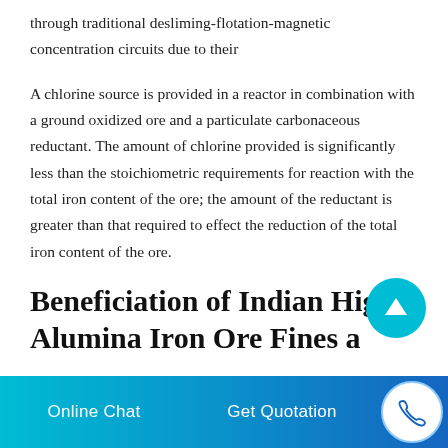through traditional desliming-flotation-magnetic concentration circuits due to their
A chlorine source is provided in a reactor in combination with a ground oxidized ore and a particulate carbonaceous reductant. The amount of chlorine provided is significantly less than the stoichiometric requirements for reaction with the total iron content of the ore; the amount of the reductant is greater than that required to effect the reduction of the total iron content of the ore.
Beneficiation of Indian High Alumina Iron Ore Fines a
[Figure (other): Teal circular scroll-to-top button with upward arrow icon]
Online Chat   Get Quotation